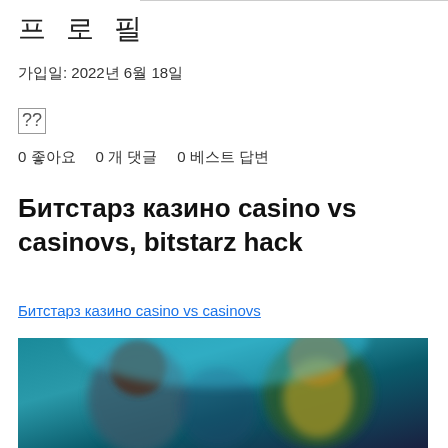프로필
가입일: 2022년 6월 18일
??
0 좋아요   0 개 댓글   0 베스트 답변
Битстарз казино casino vs casinovs, bitstarz hack
Битстарз казино casino vs casinovs
[Figure (photo): Blurred casino-themed image with colorful characters and teal background]